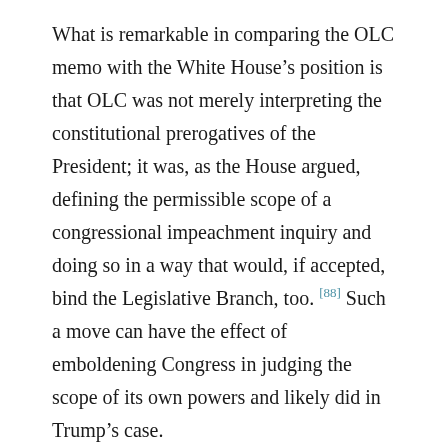What is remarkable in comparing the OLC memo with the White House's position is that OLC was not merely interpreting the constitutional prerogatives of the President; it was, as the House argued, defining the permissible scope of a congressional impeachment inquiry and doing so in a way that would, if accepted, bind the Legislative Branch, too. [88] Such a move can have the effect of emboldening Congress in judging the scope of its own powers and likely did in Trump's case.
B. Executive Privilege as Both Sword and Shield